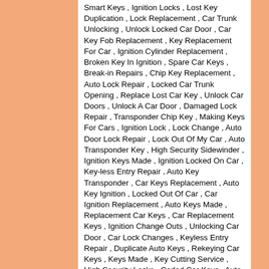Smart Keys , Ignition Locks , Lost Key Duplication , Lock Replacement , Car Trunk Unlocking , Unlock Locked Car Door , Car Key Fob Replacement , Key Replacement For Car , Ignition Cylinder Replacement , Broken Key In Ignition , Spare Car Keys , Break-in Repairs , Chip Key Replacement , Auto Lock Repair , Locked Car Trunk Opening , Replace Lost Car Key , Unlock Car Doors , Unlock A Car Door , Damaged Lock Repair , Transponder Chip Key , Making Keys For Cars , Ignition Lock , Lock Change , Auto Door Lock Repair , Lock Out Of My Car , Auto Transponder Key , High Security Sidewinder , Ignition Keys Made , Ignition Locked On Car , Key-less Entry Repair , Auto Key Transponder , Car Keys Replacement , Auto Key Ignition , Locked Out Of Car , Car Ignition Replacement , Auto Keys Made , Replacement Car Keys , Car Replacement Keys , Ignition Change Outs , Unlocking Car Door , Car Lock Changes , Keyless Entry Repair , Duplicate Auto Keys , Rekeying Car Keys , Keys Made , Key Cutting Service , High Security Locks , Coded Car Keys , Auto Trunk Unlocking , Program Transponder Key , Car Unlock Service , Car Lockout , Auto Key Cutting , Replace Ignition Key , Rekey Car Locks , Auto Unlock Service , Motorcyle Keys , Car Alarms , Car Keys Made , Car Locks , Auto Lock Changes , Car Lock Smith , Chip Car Keys , Auto Door Unlock , Car Chip Keys , Car Key Remote , Program Keyless Remote , Break-in Damage , Vat Auto Keys , Car Key Replacement , Car Key Duplication , Glove Compartment Locks , Lockout Service , Car Lock Repair , Steering Wheel Lock , Ignition Key Stuck , Car Keysmith